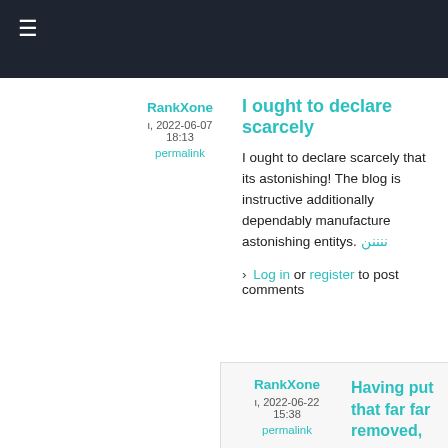≡
RankXone
ι, 2022-06-07 18:13
permalink
I ought to declare scarcely
I ought to declare scarcely that its astonishing! The blog is instructive additionally dependably manufacture astonishing entitys. ننننن
› Log in or register to post comments
RankXone
ι, 2022-06-22 15:38
permalink
Having put that far removed,
Having put that far removed, the following inquiry you could pose to yourself is: OK, so Casino X is offering $5,000 free, perhaps I'll join, take my $5,000, play them out and happen to Casino Y. ننننن